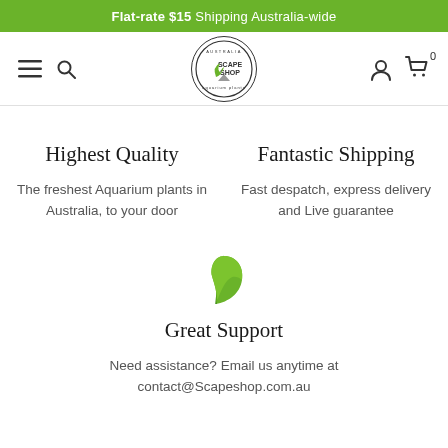Flat-rate $15 Shipping Australia-wide
[Figure (logo): Scape Shop logo — circular badge with leaf motif and text 'Scape Shop']
Highest Quality
The freshest Aquarium plants in Australia, to your door
Fantastic Shipping
Fast despatch, express delivery and Live guarantee
[Figure (illustration): Green leaf icon]
Great Support
Need assistance? Email us anytime at contact@Scapeshop.com.au